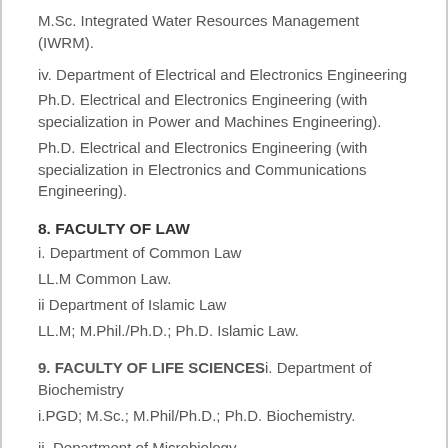M.Sc. Integrated Water Resources Management (IWRM).
iv. Department of Electrical and Electronics Engineering
Ph.D. Electrical and Electronics Engineering (with specialization in Power and Machines Engineering).
Ph.D. Electrical and Electronics Engineering (with specialization in Electronics and Communications Engineering).
8. FACULTY OF LAW
i. Department of Common Law
LL.M Common Law.
ii Department of Islamic Law
LL.M; M.Phil./Ph.D.; Ph.D. Islamic Law.
9. FACULTY OF LIFE SCIENCES
i. Department of Biochemistry
i.PGD; M.Sc.; M.Phil/Ph.D.; Ph.D. Biochemistry.
ii. Department of Microbiology
M.Sc.; Microbiology (with specialization in Industrial